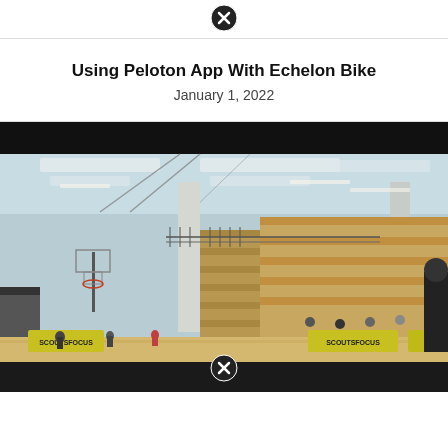[Figure (other): Close (X) button icon at top center of modal]
Using Peloton App With Echelon Bike
January 1, 2022
[Figure (photo): Indoor gymnasium/sports facility photo showing basketball courts, bleachers, high ceiling with skylights, and ScoutsFocus banners. Children playing basketball visible on court floor. Photo appears to be a video thumbnail/screenshot.]
[Figure (other): Close (X) button icon at bottom center of video/modal area]